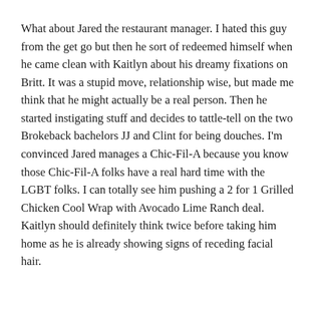What about Jared the restaurant manager. I hated this guy from the get go but then he sort of redeemed himself when he came clean with Kaitlyn about his dreamy fixations on Britt. It was a stupid move, relationship wise, but made me think that he might actually be a real person. Then he started instigating stuff and decides to tattle-tell on the two Brokeback bachelors JJ and Clint for being douches. I'm convinced Jared manages a Chic-Fil-A because you know those Chic-Fil-A folks have a real hard time with the LGBT folks. I can totally see him pushing a 2 for 1 Grilled Chicken Cool Wrap with Avocado Lime Ranch deal. Kaitlyn should definitely think twice before taking him home as he is already showing signs of receding facial hair.